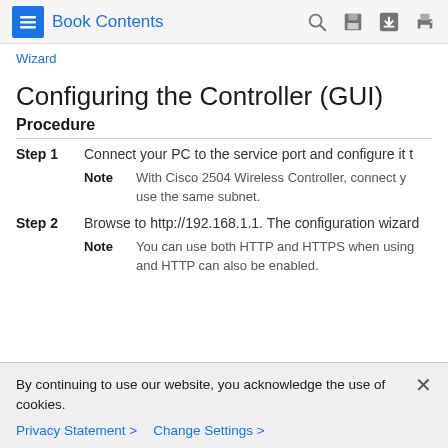Book Contents
Wizard
Configuring the Controller (GUI)
Procedure
Step 1 Connect your PC to the service port and configure it t
Note With Cisco 2504 Wireless Controller, connect y use the same subnet.
Step 2 Browse to http://192.168.1.1. The configuration wizard
Note You can use both HTTP and HTTPS when using and HTTP can also be enabled.
By continuing to use our website, you acknowledge the use of cookies.
Privacy Statement > Change Settings >